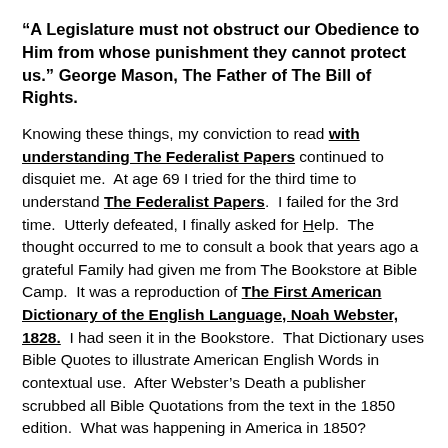“A Legislature must not obstruct our Obedience to Him from whose punishment they cannot protect us.” George Mason, The Father of The Bill of Rights.
Knowing these things, my conviction to read with understanding The Federalist Papers continued to disquiet me.  At age 69 I tried for the third time to understand The Federalist Papers.  I failed for the 3rd time.  Utterly defeated, I finally asked for Help.  The thought occurred to me to consult a book that years ago a grateful Family had given me from The Bookstore at Bible Camp.  It was a reproduction of The First American Dictionary of the English Language, Noah Webster, 1828.  I had seen it in the Bookstore.  That Dictionary uses Bible Quotes to illustrate American English Words in contextual use.  After Webster’s Death a publisher scrubbed all Bible Quotations from the text in the 1850 edition.  What was happening in America in 1850?
Using the Reproduction of the 1828 Webster I looked up every word with the exception of a, an, the, of, by, for, with, and, because, since, and the like.  9 months later I had completed